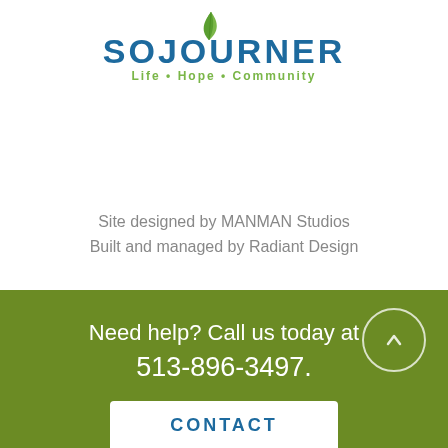[Figure (logo): Sojourner logo with leaf graphic, blue text 'SOJOURNER', green tagline 'Life • Hope • Community']
Site designed by MANMAN Studios
Built and managed by Radiant Design
Need help? Call us today at 513-896-3497.
CONTACT